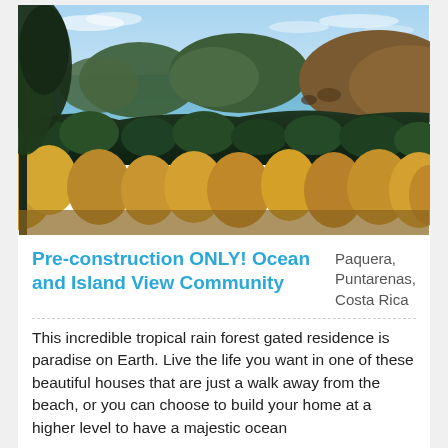[Figure (photo): Panoramic tropical landscape photo showing ocean bay with islands, lush green and golden dry-season forest in foreground, blue sky with light clouds]
Pre-construction ONLY! Ocean and Island View Community
Paquera, Puntarenas, Costa Rica
This incredible tropical rain forest gated residence is paradise on Earth. Live the life you want in one of these beautiful houses that are just a walk away from the beach, or you can choose to build your home at a higher level to have a majestic ocean